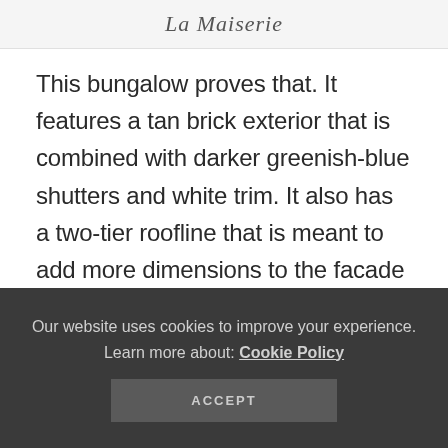La Maiseria
This bungalow proves that. It features a tan brick exterior that is combined with darker greenish-blue shutters and white trim. It also has a two-tier roofline that is meant to add more dimensions to the facade of the property.
Our website uses cookies to improve your experience. Learn more about: Cookie Policy
ACCEPT